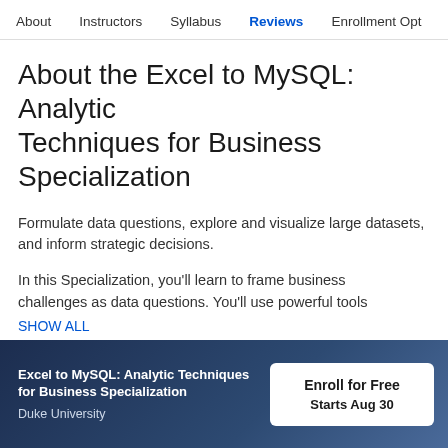About  Instructors  Syllabus  Reviews  Enrollment Opt
About the Excel to MySQL: Analytic Techniques for Business Specialization
Formulate data questions, explore and visualize large datasets, and inform strategic decisions.
In this Specialization, you'll learn to frame business challenges as data questions. You'll use powerful tools
SHOW ALL
[Figure (photo): Two people looking at a screen/device, cropped close-up header image]
Excel to MySQL: Analytic Techniques for Business Specialization
Duke University
Enroll for Free
Starts Aug 30